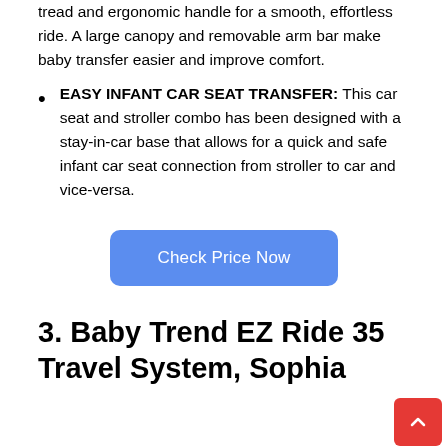tread and ergonomic handle for a smooth, effortless ride. A large canopy and removable arm bar make baby transfer easier and improve comfort.
EASY INFANT CAR SEAT TRANSFER: This car seat and stroller combo has been designed with a stay-in-car base that allows for a quick and safe infant car seat connection from stroller to car and vice-versa.
[Figure (other): Blue rounded button labeled 'Check Price Now']
3. Baby Trend EZ Ride 35 Travel System, Sophia